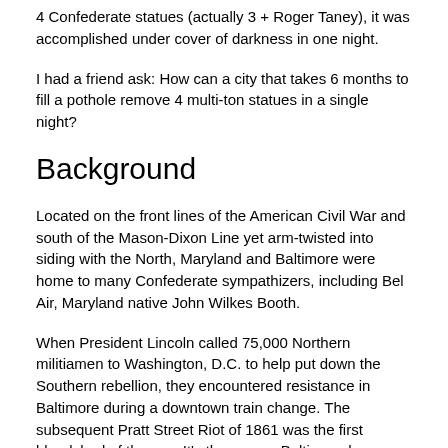4 Confederate statues (actually 3 + Roger Taney), it was accomplished under cover of darkness in one night.
I had a friend ask: How can a city that takes 6 months to fill a pothole remove 4 multi-ton statues in a single night?
Background
Located on the front lines of the American Civil War and south of the Mason-Dixon Line yet arm-twisted into siding with the North, Maryland and Baltimore were home to many Confederate sympathizers, including Bel Air, Maryland native John Wilkes Booth.
When President Lincoln called 75,000 Northern militiamen to Washington, D.C. to help put down the Southern rebellion, they encountered resistance in Baltimore during a downtown train change. The subsequent Pratt Street Riot of 1861 was the first bloodshed of the war. It's the reason Baltimore has